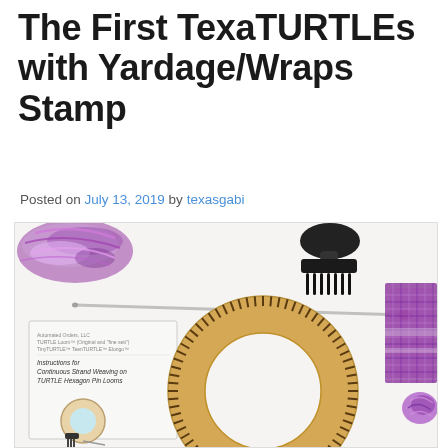The First TexaTURTLEs with Yardage/Wraps Stamp
Posted on July 13, 2019 by texasgabi
[Figure (photo): Flat lay photo showing a circular wooden TURTLE Hexagon Pin Loom ring with tick marks around its rim, a black wide-tooth comb/pick, a pink-tipped needle or tool, a skein of purple/pink yarn in the top left corner, a purple woven fabric swatch in the top right corner, and a printed instruction booklet on the left side titled 'Instructions for Continuous Strand Weaving on TURTLE Hexagon Pin Looms'. White background.]